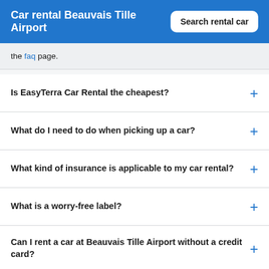Car rental Beauvais Tille Airport
the faq page.
Is EasyTerra Car Rental the cheapest?
What do I need to do when picking up a car?
What kind of insurance is applicable to my car rental?
What is a worry-free label?
Can I rent a car at Beauvais Tille Airport without a credit card?